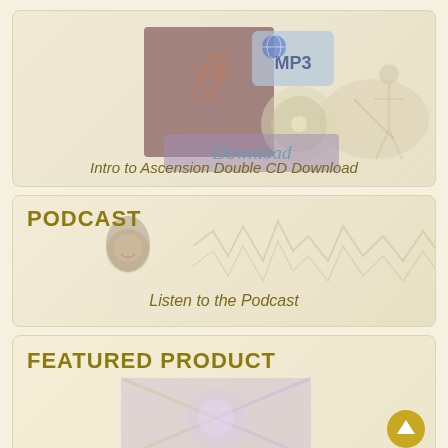[Figure (illustration): Product card showing Intro to Ascension Double CD Download with overlaid MP3 and CD graphic and a background figure on water]
Intro to Ascension Double CD Download
[Figure (illustration): Podcast card showing woman smiling and waveform background with PODCAST label and Listen to the Podcast text]
[Figure (illustration): Featured Product card showing abstract colorful spiritual artwork with FEATURED PRODUCT label]